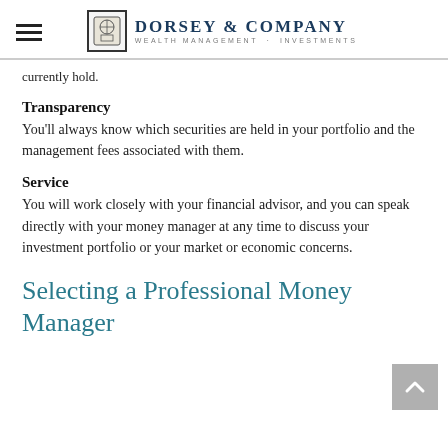Dorsey & Company Wealth Management · Investments
currently hold.
Transparency
You'll always know which securities are held in your portfolio and the management fees associated with them.
Service
You will work closely with your financial advisor, and you can speak directly with your money manager at any time to discuss your investment portfolio or your market or economic concerns.
Selecting a Professional Money Manager